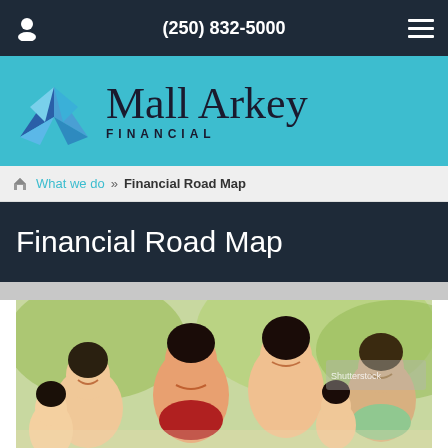(250) 832-5000
[Figure (logo): Mall Arkey Financial logo with blue diamond/mountain graphic and company name]
What we do » Financial Road Map
Financial Road Map
[Figure (photo): Multi-generational Asian family smiling outdoors, including grandparents, parents, and children]